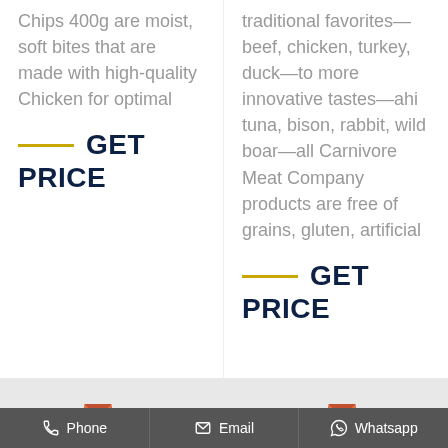Chips 400g are moist, soft bites that are made with high-quality Chicken for optimal
GET PRICE
traditional favorites—beef, chicken, turkey, duck—to more innovative tastes—ahi tuna, bison, rabbit, wild boar—all Carnivore Meat Company products are free of grains, gluten, artificial
GET PRICE
Phone   Email   Whatsapp